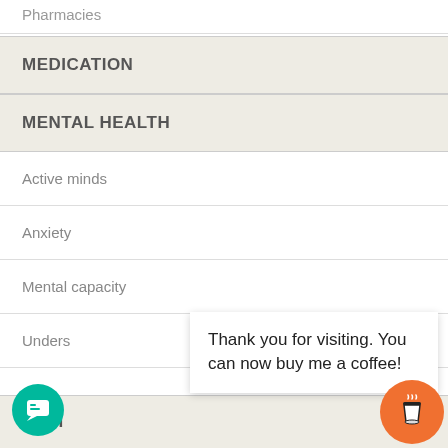Pharmacies
MEDICATION
MENTAL HEALTH
Active minds
Anxiety
Mental capacity
Unders
HYSI
Thank you for visiting. You can now buy me a coffee!